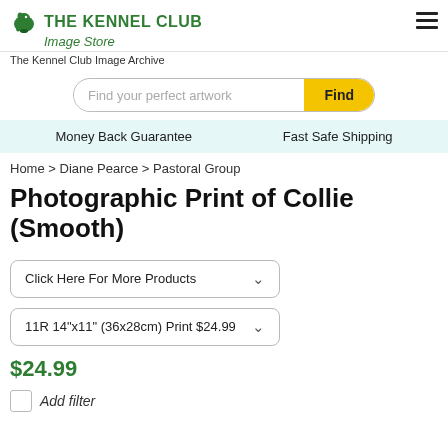THE KENNEL CLUB Image Store
The Kennel Club Image Archive
Find your perfect artwork | Find
Money Back Guarantee   Fast Safe Shipping
Home > Diane Pearce > Pastoral Group
Photographic Print of Collie (Smooth)
Click Here For More Products
11R 14"x11" (36x28cm) Print $24.99
$24.99
Add filter